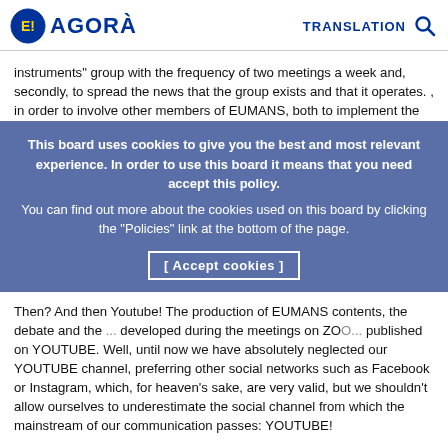E! AGORÀ   TRANSLATION 🔍
instruments" group with the frequency of two meetings a week and, secondly, to spread the news that the group exists and that it operates. , in order to involve other members of EUMANS, both to implement the techno
This board uses cookies to give you the best and most relevant experience. In order to use this board it means that you need accept this policy. You can find out more about the cookies used on this board by clicking the "Policies" link at the bottom of the page. [ Accept cookies ]
Then? And then Youtube! The production of EUMANS contents, the debate and the ... developed during the meetings on ZOO... published on YOUTUBE. Well, until now we have absolutely neglected our YOUTUBE channel, preferring other social networks such as Facebook or Instagram, which, for heaven's sake, are very valid, but we shouldn't allow ourselves to underestimate the social channel from which the mainstream of our communication passes: YOUTUBE!
Last but not least, I want to talk about the enrollment problem: there are very few and they do not increase even in periods of great mobilization. I think this is very serious. We should ask ourselves why this happens. Just as we should ask ourselves why many people who in the past months had also approached the planet EUMANS, after a while they moved away from it. Surely there are also reasons attributable to our faults in the management of relationships with members or in the management of our meetings. I think it is also urgent to question this